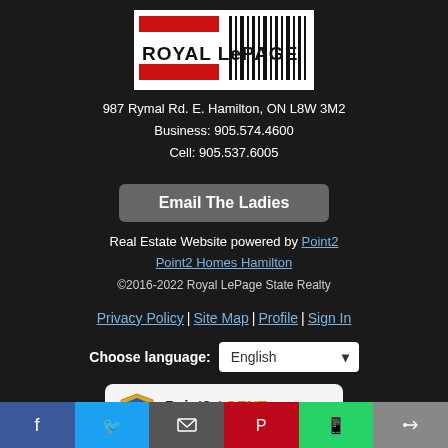[Figure (logo): Royal LePage logo with red bars and barcode-style lines]
987 Rymal Rd. E. Hamilton, ON L8W 3M2
Business: 905.574.4600
Cell: 905.537.6005
Email The Ladies
Real Estate Website powered by Point2 Point2 Homes Hamilton
©2016-2022 Royal LePage State Realty
Privacy Policy | Site Map | Profile | Sign In
Choose language: English
[Figure (logo): Point2 AGENT EXPRESS badge/logo]
Facebook | Twitter | Email | Pinterest | WhatsApp | Link